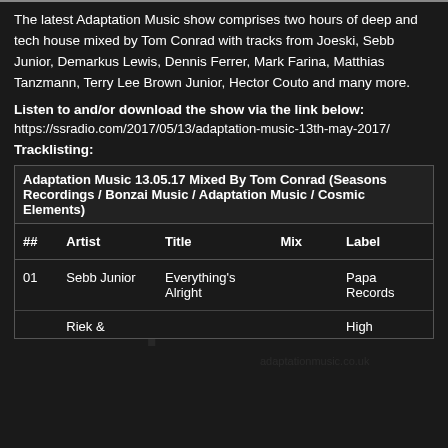The latest Adaptation Music show comprises two hours of deep and tech house mixed by Tom Conrad with tracks from Joeski, Sebb Junior, Demarkus Lewis, Dennis Ferrer, Mark Farina, Matthias Tanzmann, Terry Lee Brown Junior, Hector Couto and many more.
Listen to and/or download the show via the link below:
https://ssradio.com/2017/05/13/adaptation-music-13th-may-2017/
Tracklisting:
[Figure (logo): Adaptation Music watermark logo with world map dotted background and text 'adaptationmusic.co.uk']
| ## | Artist | Title | Mix | Label |
| --- | --- | --- | --- | --- |
| Adaptation Music 13.05.17 Mixed By Tom Conrad (Seasons Recordings / Bonzai Music / Adaptation Music / Cosmic Elements) |  |  |  |  |
| 01 | Sebb Junior | Everything's Alright |  | Papa Records |
|  | Riek & |  |  | High |